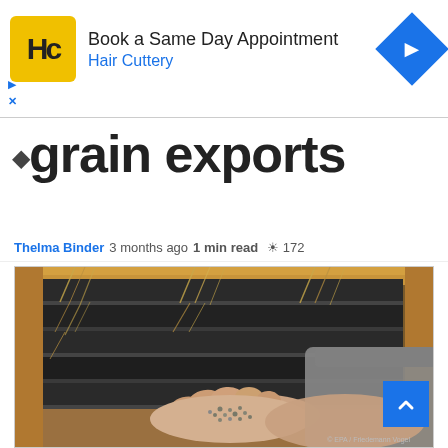[Figure (advertisement): Hair Cuttery advertisement banner with yellow HC logo, text 'Book a Same Day Appointment' and 'Hair Cuttery', and a blue diamond navigation icon]
grain exports
Thelma Binder  3 months ago  1 min read  👁 172
[Figure (photo): A person's hand holding grain pellets/seeds in front of industrial grain sorting or processing machinery with multiple slotted compartments. Photo credit: EPA / Friedemann Vogel]